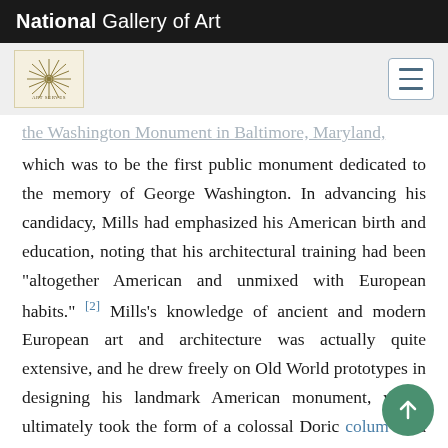National Gallery of Art
the Washington Monument in Baltimore, Maryland, which was to be the first public monument dedicated to the memory of George Washington. In advancing his candidacy, Mills had emphasized his American birth and education, noting that his architectural training had been “altogether American and unmixed with European habits.” [2] Mills’s knowledge of ancient and modern European art and architecture was actually quite extensive, and he drew freely on Old World prototypes in designing his landmark American monument, which ultimately took the form of a colossal Doric column on a cubic base surmounted by a statue of Washington.